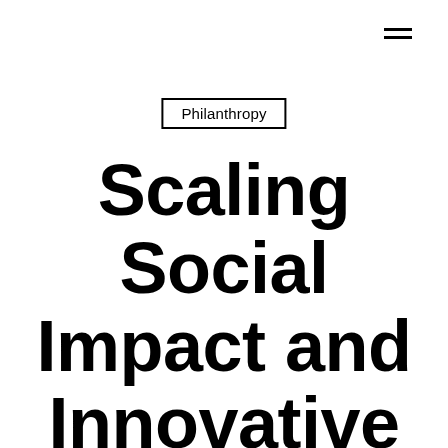[Figure (other): Hamburger menu icon (three horizontal lines) in top-right corner]
Philanthropy
Scaling Social Impact and Innovative Health Organizations